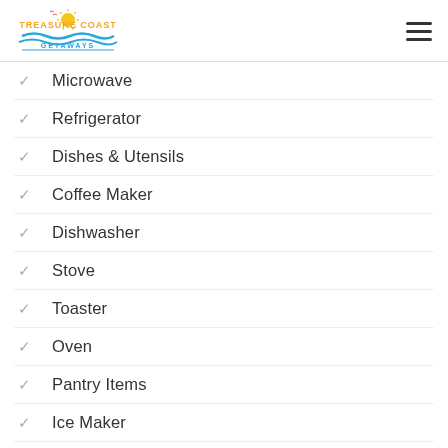[Figure (logo): Treasure Coast Getaways logo with sun and waves in yellow and blue]
Microwave
Refrigerator
Dishes & Utensils
Coffee Maker
Dishwasher
Stove
Toaster
Oven
Pantry Items
Ice Maker
Blender